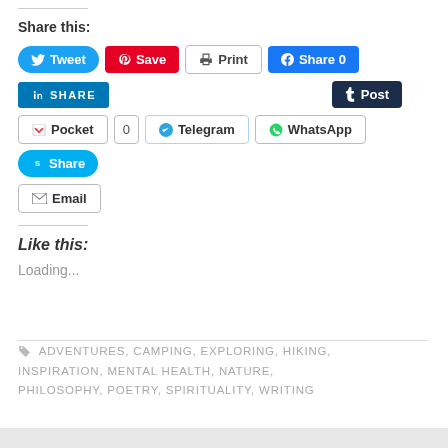Share this:
[Figure (infographic): Social sharing buttons: Tweet, Save (Pinterest), Print, Share 0 (Facebook), SHARE (LinkedIn), Post (Tumblr), Pocket 0, Telegram, WhatsApp, Share (Skype), Email]
Like this:
Loading...
ADVENTURES, CAMPING, EXPLORING, HIKING, INSPIRATION, MENTAL HEALTH, NATURE, PHILOSOPHY, POETRY, SPIRITUALITY, WRITING